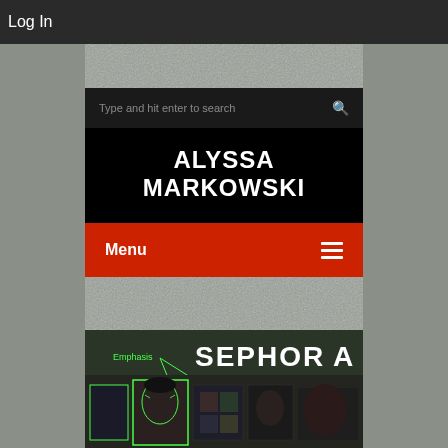Log In
ALYSSA MARKOWSKI
Type and hit enter to search
Menu
[Figure (screenshot): Sephora storefront with facial recognition annotation overlay showing 'Emphasis' label with green lines pointing to faces on advertising displays]